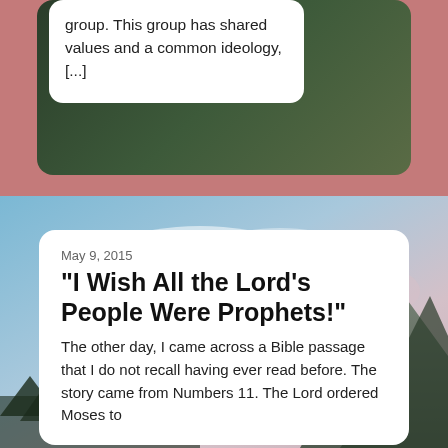group. This group has shared values and a common ideology, [...]
[Figure (photo): Scenic mountain landscape with sky and clouds, used as background for a blog post card]
May 9, 2015
"I Wish All the Lord's People Were Prophets!"
The other day, I came across a Bible passage that I do not recall having ever read before. The story came from Numbers 11. The Lord ordered Moses to